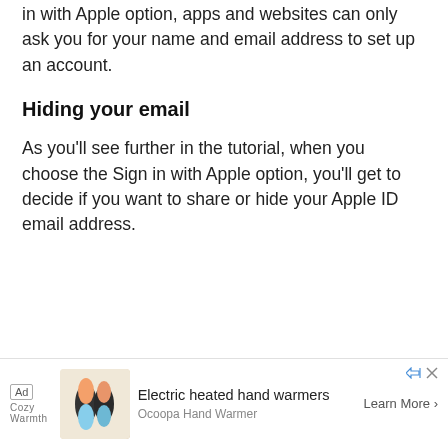in with Apple option, apps and websites can only ask you for your name and email address to set up an account.
Hiding your email
As you’ll see further in the tutorial, when you choose the Sign in with Apple option, you’ll get to decide if you want to share or hide your Apple ID email address.
[Figure (other): Advertisement banner for Electric heated hand warmers by Ocoopa Hand Warmer with a Learn More button]